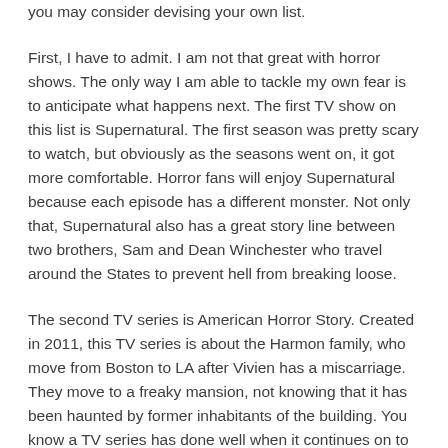you may consider devising your own list.
First, I have to admit. I am not that great with horror shows. The only way I am able to tackle my own fear is to anticipate what happens next. The first TV show on this list is Supernatural. The first season was pretty scary to watch, but obviously as the seasons went on, it got more comfortable. Horror fans will enjoy Supernatural because each episode has a different monster. Not only that, Supernatural also has a great story line between two brothers, Sam and Dean Winchester who travel around the States to prevent hell from breaking loose.
The second TV series is American Horror Story. Created in 2011, this TV series is about the Harmon family, who move from Boston to LA after Vivien has a miscarriage. They move to a freaky mansion, not knowing that it has been haunted by former inhabitants of the building. You know a TV series has done well when it continues on to its second season so expect some more